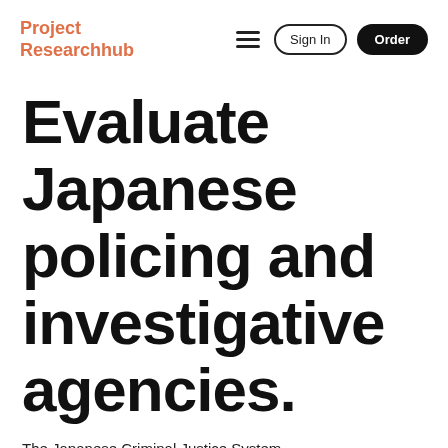Project Researchhub | Sign In | Order
Evaluate Japanese policing and investigative agencies.
The Japanese Criminal Justice System